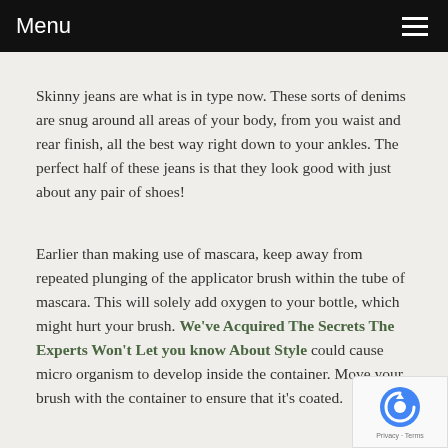Menu
Skinny jeans are what is in type now. These sorts of denims are snug around all areas of your body, from you waist and rear finish, all the best way right down to your ankles. The perfect half of these jeans is that they look good with just about any pair of shoes!
Earlier than making use of mascara, keep away from repeated plunging of the applicator brush within the tube of mascara. This will solely add oxygen to your bottle, which might hurt your brush. We've Acquired The Secrets The Experts Won't Let you know About Style could cause micro organism to develop inside the container. Move your brush with the container to ensure that it's coated.